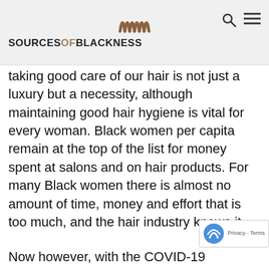SOURCESOFBLACKNESS
taking good care of our hair is not just a luxury but a necessity, although maintaining good hair hygiene is vital for every woman. Black women per capita remain at the top of the list for money spent at salons and on hair products. For many Black women there is almost no amount of time, money and effort that is too much, and the hair industry knows it.
Now however, with the COVID-19 pandemic and lockdown, there is a new definition of how we do things. While we can no longer go to the salon as frequently as usual to get our hair professionally done, there are simple styles you can do at home while in the lockdown that will maintain the hair…